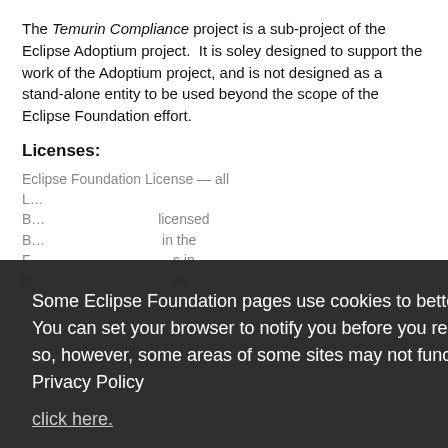The Temurin Compliance project is a sub-project of the Eclipse Adoptium project.  It is soley designed to support the work of the Adoptium project, and is not designed as a stand-alone entity to be used beyond the scope of the Eclipse Foundation effort.
Licenses:
[partially obscured by cookie overlay] Eclipse Foundation License text and list items about licensed content
[Figure (screenshot): Cookie consent overlay on a dark semi-transparent background. Text reads: 'Some Eclipse Foundation pages use cookies to better serve you when you return to the site. You can set your browser to notify you before you receive a cookie or turn off cookies. If you do so, however, some areas of some sites may not function properly. To read Eclipse Foundation Privacy Policy click here.' Two buttons: 'Decline' (white) and 'Allow cookies' (orange).]
Project Scheduling.
The project will provide work and resources to maintain the schedule of the Temurin project.